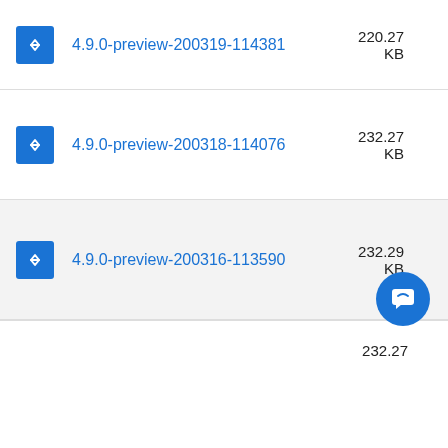4.9.0-preview-200319-114381, 220.27 KB
4.9.0-preview-200318-114076, 232.27 KB
4.9.0-preview-200316-113590, 232.29 KB
232.27 (partial row)